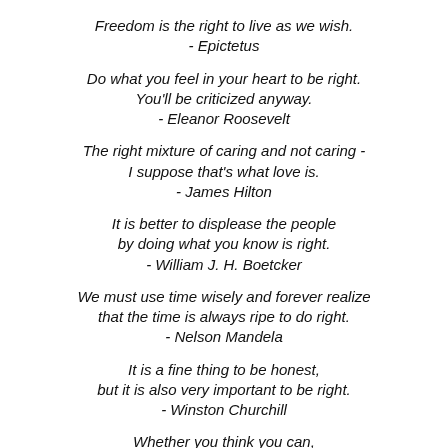Freedom is the right to live as we wish.
- Epictetus
Do what you feel in your heart to be right. You'll be criticized anyway.
- Eleanor Roosevelt
The right mixture of caring and not caring - I suppose that's what love is.
- James Hilton
It is better to displease the people by doing what you know is right.
- William J. H. Boetcker
We must use time wisely and forever realize that the time is always ripe to do right.
- Nelson Mandela
It is a fine thing to be honest, but it is also very important to be right.
- Winston Churchill
Whether you think you can, or think you can't, you're right.